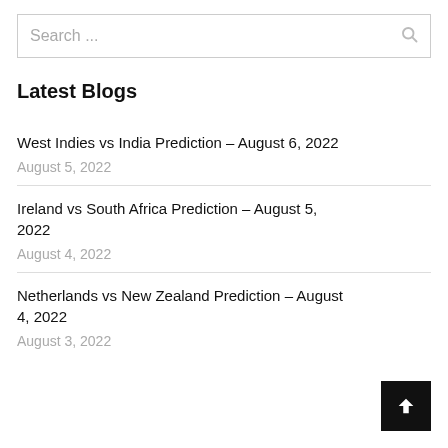Search ...
Latest Blogs
West Indies vs India Prediction – August 6, 2022
August 5, 2022
Ireland vs South Africa Prediction – August 5, 2022
August 4, 2022
Netherlands vs New Zealand Prediction – August 4, 2022
August 3, 2022